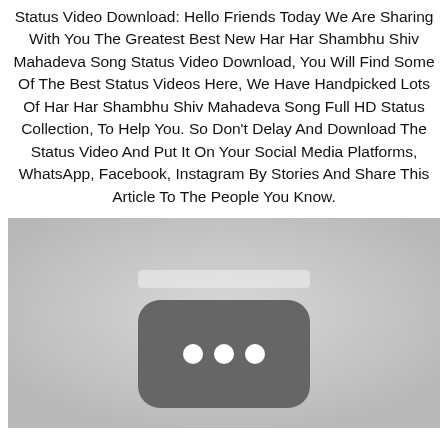Status Video Download: Hello Friends Today We Are Sharing With You The Greatest Best New Har Har Shambhu Shiv Mahadeva Song Status Video Download, You Will Find Some Of The Best Status Videos Here, We Have Handpicked Lots Of Har Har Shambhu Shiv Mahadeva Song Full HD Status Collection, To Help You. So Don't Delay And Download The Status Video And Put It On Your Social Media Platforms, WhatsApp, Facebook, Instagram By Stories And Share This Article To The People You Know.
[Figure (screenshot): A grayscale image showing a video player placeholder with a dark rounded rectangle in the center containing three white circles (loading indicator dots) on a light gray background.]